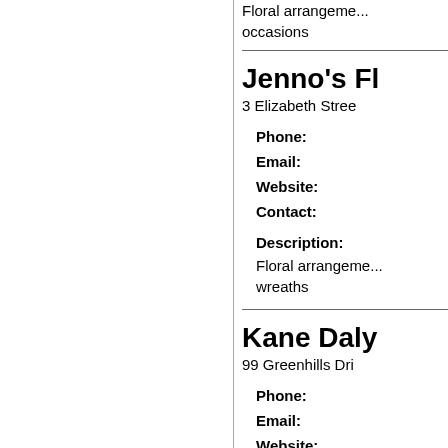Floral arrangements for all occasions
Jenno's Fl...
3 Elizabeth Stree...
Phone:
Email:
Website:
Contact:
Description: Floral arrangements... wreaths
Kane Daly...
99 Greenhills Dri...
Phone:
Email:
Website:
Contact: